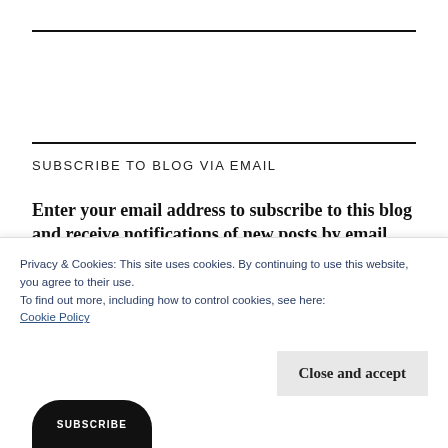SUBSCRIBE TO BLOG VIA EMAIL
Enter your email address to subscribe to this blog and receive notifications of new posts by email
Privacy & Cookies: This site uses cookies. By continuing to use this website, you agree to their use.
To find out more, including how to control cookies, see here:
Cookie Policy
Close and accept